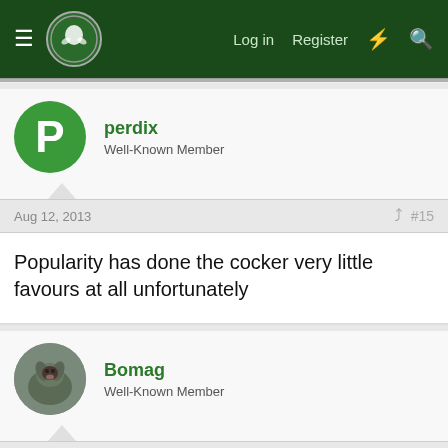Menu | Log in | Register
perdix
Well-Known Member
Aug 12, 2013 #15
Popularity has done the cocker very little favours at all unfortunately
Bomag
Well-Known Member
Aug 12, 2013 #16
This site uses cookies to help personalise content, tailor your experience and to keep you logged in if you register.
By continuing to use this site, you are consenting to our use of cookies.